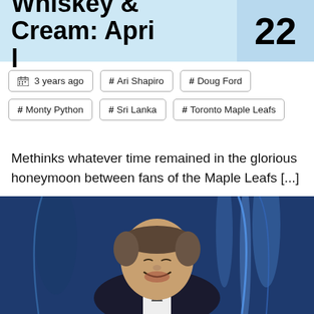Whiskey & Cream: April 22
3 years ago
# Ari Shapiro
# Doug Ford
# Monty Python
# Sri Lanka
# Toronto Maple Leafs
Methinks whatever time remained in the glorious honeymoon between fans of the Maple Leafs [...]
[Figure (photo): Man in dark suit smiling with blue streamers or confetti in background]